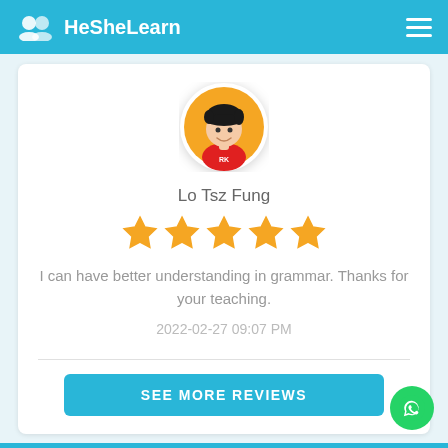HeSheLearn
[Figure (illustration): Circular avatar of a young male cartoon character with black hair, wearing a red shirt, on an orange background]
Lo Tsz Fung
[Figure (other): 5 orange star rating icons]
I can have better understanding in grammar. Thanks for your teaching.
2022-02-27 09:07 PM
SEE MORE REVIEWS